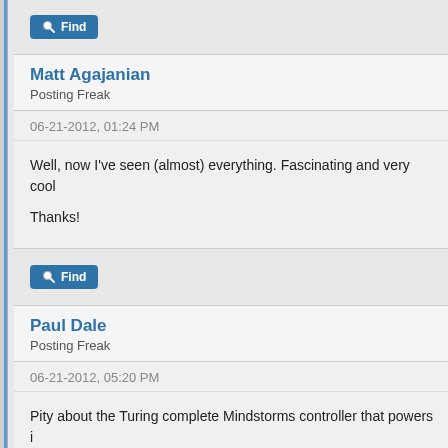[Figure (screenshot): Find button with magnifying glass icon, blue rounded rectangle]
Matt Agajanian
Posting Freak
06-21-2012, 01:24 PM
Well, now I've seen (almost) everything. Fascinating and very cool
Thanks!
[Figure (screenshot): Find button with magnifying glass icon, blue rounded rectangle]
Paul Dale
Posting Freak
06-21-2012, 05:20 PM
Pity about the Turing complete Mindstorms controller that powers i